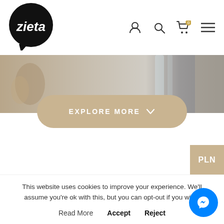[Figure (logo): Zieta brand logo — white italic text 'zieta' inside a black speech bubble circle with tail]
[Figure (screenshot): Website navigation bar with user, search, cart (0 items), and hamburger menu icons]
[Figure (photo): Partial hero image strip showing decorative objects, glass and curtains in muted tan/grey tones]
[Figure (other): Beige rounded pill-shaped 'EXPLORE MORE v' button]
[Figure (other): Beige 'PLN' currency badge on right edge]
[Figure (other): Light grey plus circle button on right side]
Our other products on Instagram
This website uses cookies to improve your experience. We'll assume you're ok with this, but you can opt-out if you wish.
Read More   Accept   Reject
[Figure (other): Blue circular Messenger chat button with lightning bolt icon]